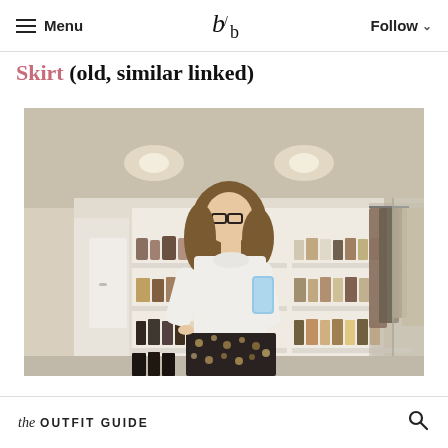Menu | b/b logo | Follow
Skirt (old, similar linked)
[Figure (photo): A woman taking a mirror selfie in a walk-in closet filled with shoes on shelves. She is wearing glasses, a white long-sleeve mock-neck top, and a dark floral skirt. She holds a light blue phone. Behind her are multiple shelves of shoes and a rack of clothes on the right side, with a mirrored wall on the far right.]
the OUTFIT GUIDE